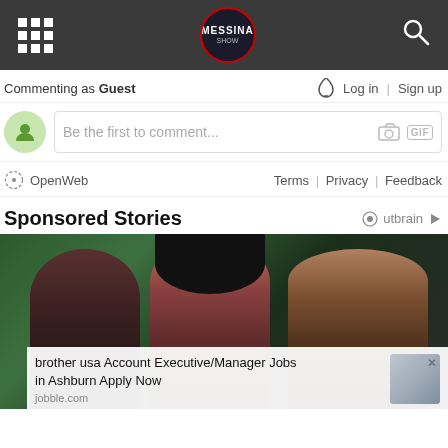Messina Show navigation bar
Commenting as Guest
Be the first to comment...
OpenWeb    Terms | Privacy | Feedback
Sponsored Stories
[Figure (photo): Photo of three people (two women and one man) outdoors near trees, with an ad overlay for 'brother usa Account Executive/Manager Jobs in Ashburn Apply Now' from jobble.com]
brother usa Account Executive/Manager Jobs in Ashburn Apply Now
jobble.com